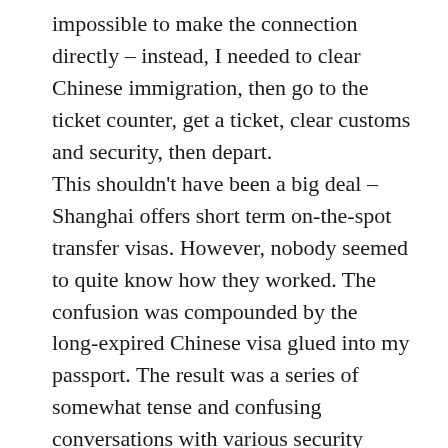impossible to make the connection directly – instead, I needed to clear Chinese immigration, then go to the ticket counter, get a ticket, clear customs and security, then depart.
This shouldn't have been a big deal – Shanghai offers short term on-the-spot transfer visas. However, nobody seemed to quite know how they worked. The confusion was compounded by the long-expired Chinese visa glued into my passport. The result was a series of somewhat tense and confusing conversations with various security personnel, trying to determine where I'd come from and how I'd ended up there. This process was repeated at the Vietnam Airlines ticket counter, and again at the departure